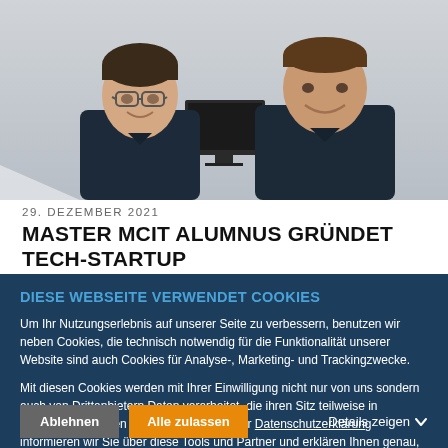[Figure (photo): Two men standing side by side, both wearing dark clothing, smiling at camera. A monitor is visible between them in the background. Grey/white background.]
29. DEZEMBER 2021
MASTER MCIT ALUMNUS GRÜNDET TECH-STARTUP
DIESE WEBSEITE VERWENDET COOKIES
Um Ihr Nutzungserlebnis auf unserer Seite zu verbessern, benutzen wir neben Cookies, die technisch notwendig für die Funktionalität unserer Website sind auch Cookies für Analyse-, Marketing- und Trackingzwecke.
Mit diesen Cookies werden mit Ihrer Einwilligung nicht nur von uns sondern auch von Drittanbietern Daten verarbeitet, die ihren Sitz teilweise in Drittländern wie den USA haben. In unserer Datenschutzerklärung informieren wir Sie über diese Tools und Partner und erklären Ihnen genau, was eine Datenübermittlung in die USA bedeuten kann.
Ablehnen
Alle zulassen
Details zeigen